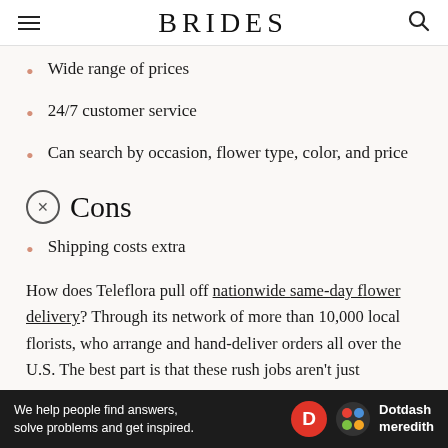BRIDES
Wide range of prices
24/7 customer service
Can search by occasion, flower type, color, and price
Cons
Shipping costs extra
How does Teleflora pull off nationwide same-day flower delivery? Through its network of more than 10,000 local florists, who arrange and hand-deliver orders all over the U.S. The best part is that these rush jobs aren't just
We help people find answers, solve problems and get inspired. Dotdash meredith